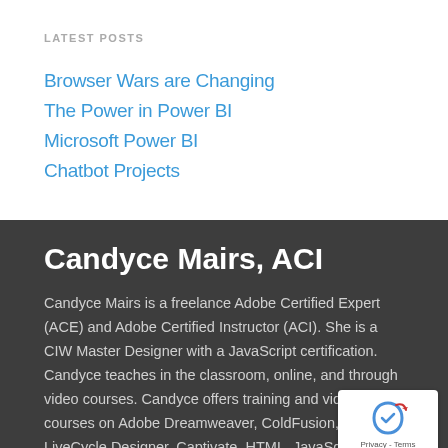LATEST POSTS
Browser Wars are Changing
The Power in Power BI
Microsoft Power BI
Chatbot Projects
Candyce Mairs, ACI
Candyce Mairs is a freelance Adobe Certified Expert (ACE) and Adobe Certified Instructor (ACI). She is a CIW Master Designer with a JavaScript certification. Candyce teaches in the classroom, online, and through video courses. Candyce offers training and video courses on Adobe Dreamweaver, ColdFusion, Acrobat, LiveCycle Designer, Captivate, HTML, JavaScript, jQuery, WordPress, CSS and Microsoft Office including Visio, and others.